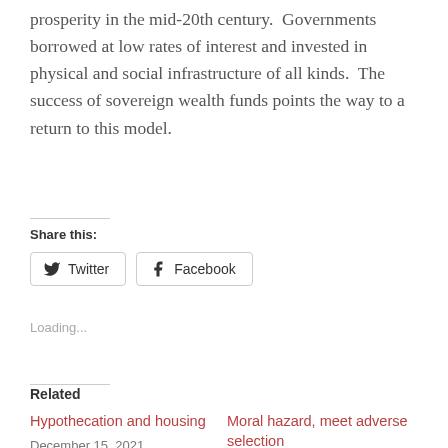prosperity in the mid-20th century.  Governments borrowed at low rates of interest and invested in physical and social infrastructure of all kinds.  The success of sovereign wealth funds points the way to a return to this model.
Share this:
Twitter
Facebook
Loading...
Related
Hypothecation and housing
December 15, 2021
Moral hazard, meet adverse selection
September 20, 2008